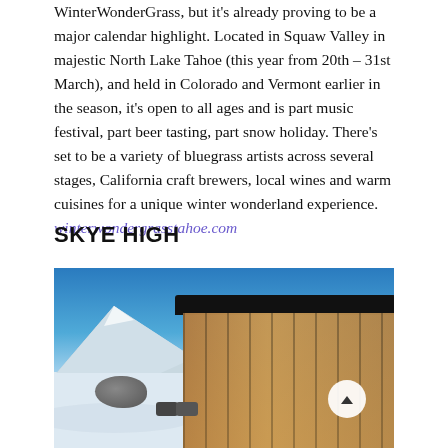WinterWonderGrass, but it's already proving to be a major calendar highlight. Located in Squaw Valley in majestic North Lake Tahoe (this year from 20th – 31st March), and held in Colorado and Vermont earlier in the season, it's open to all ages and is part music festival, part beer tasting, part snow holiday. There's set to be a variety of bluegrass artists across several stages, California craft brewers, local wines and warm cuisines for a unique winter wonderland experience. winterwondergrasstahoe.com
SKYE HIGH
[Figure (photo): Architectural rendering of a modern glass and wood building with curved dark roof, set against a snowy mountain landscape under a bright blue sky. Outdoor seating area visible in foreground. A circular scroll-up button overlaid on the right side.]